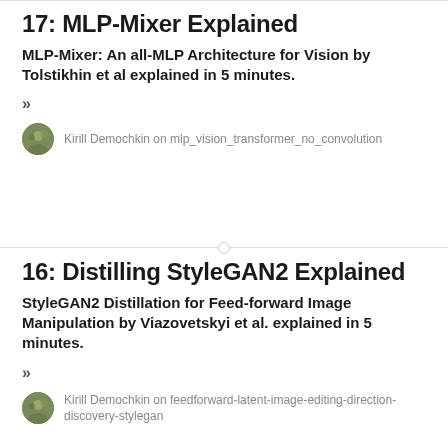17: MLP-Mixer Explained
MLP-Mixer: An all-MLP Architecture for Vision by Tolstikhin et al explained in 5 minutes.
»
Kirill Demochkin on mlp_vision_transformer_no_convolution
16: Distilling StyleGAN2 Explained
StyleGAN2 Distillation for Feed-forward Image Manipulation by Viazovetskyi et al. explained in 5 minutes.
»
Kirill Demochkin on feedforward-latent-image-editing-direction-discovery-stylegan